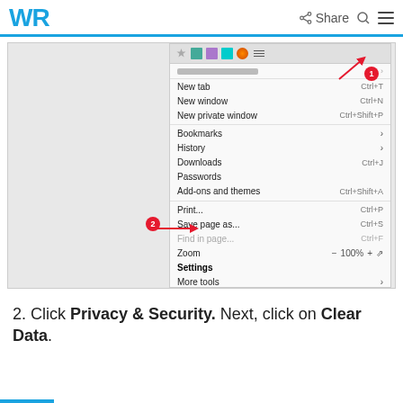WR | Share [search icon] [menu icon]
[Figure (screenshot): Firefox browser menu open showing options: New tab Ctrl+T, New window Ctrl+N, New private window Ctrl+Shift+P, Bookmarks, History, Downloads Ctrl+J, Passwords, Add-ons and themes Ctrl+Shift+A, Print... Ctrl+P, Save page as... Ctrl+S, Find in page... Ctrl+F, Zoom 100%, Settings (highlighted), More tools, Help, Exit Ctrl+Shift+Q. Red annotation circle 1 points to menu button in top right. Red annotation circle 2 points to Settings option.]
2. Click Privacy & Security. Next, click on Clear Data.